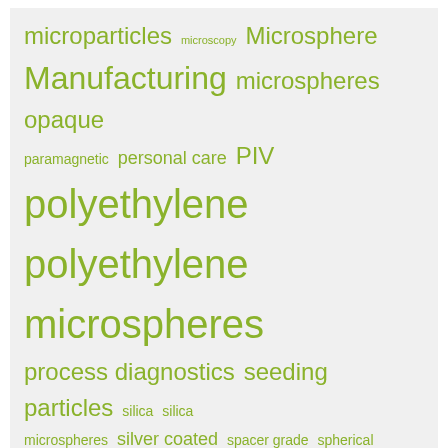[Figure (other): Tag cloud with green-colored terms of varying sizes related to microspheres: microparticles, microscopy, Microsphere Manufacturing, microspheres, opaque, paramagnetic, personal care, PIV, polyethylene, polyethylene microspheres, process diagnostics, seeding particles, silica, silica microspheres, silver coated, spacer grade, spherical pigments, Tracer Particles, zeta potential]
Categories
Applications of Microspheres (37)
Biomedical Microspheres (27)
Bond Line Spacers (8)
Calibration Program (3)
Charge Measurement Techniques (3)